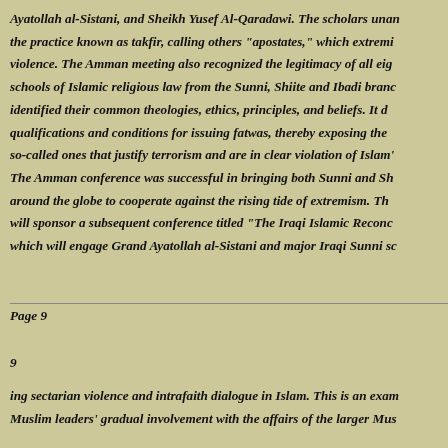Ayatollah al-Sistani, and Sheikh Yusef Al-Qaradawi. The scholars unan the practice known as takfir, calling others "apostates," which extremi violence. The Amman meeting also recognized the legitimacy of all eig schools of Islamic religious law from the Sunni, Shiite and Ibadi branc identified their common theologies, ethics, principles, and beliefs. It d qualifications and conditions for issuing fatwas, thereby exposing the so-called ones that justify terrorism and are in clear violation of Islam' The Amman conference was successful in bringing both Sunni and Sh around the globe to cooperate against the rising tide of extremism. Th will sponsor a subsequent conference titled "The Iraqi Islamic Reconc which will engage Grand Ayatollah al-Sistani and major Iraqi Sunni sc
Page 9
9
ing sectarian violence and intrafaith dialogue in Islam. This is an exam Muslim leaders' gradual involvement with the affairs of the larger Mus